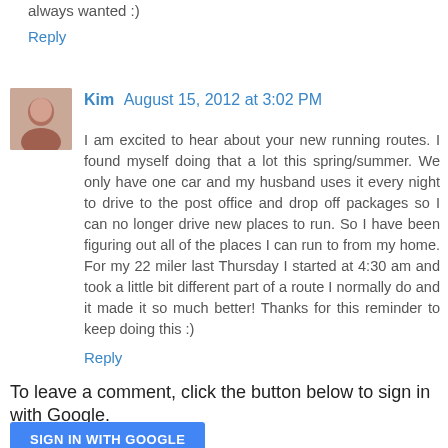always wanted :)
Reply
Kim August 15, 2012 at 3:02 PM
I am excited to hear about your new running routes. I found myself doing that a lot this spring/summer. We only have one car and my husband uses it every night to drive to the post office and drop off packages so I can no longer drive new places to run. So I have been figuring out all of the places I can run to from my home. For my 22 miler last Thursday I started at 4:30 am and took a little bit different part of a route I normally do and it made it so much better! Thanks for this reminder to keep doing this :)
Reply
To leave a comment, click the button below to sign in with Google.
SIGN IN WITH GOOGLE